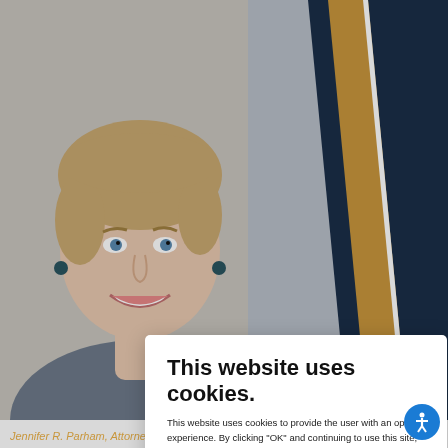[Figure (photo): Professional headshot of a woman with short hair, smiling, with navy and gold diagonal stripes in the background upper right]
| A... Jen... tra... Ho... fan... foc... he... he...
This website uses cookies.
This website uses cookies to provide the user with an optimal experience. By clicking “OK” and continuing to use this site, the user consents to the collection of all cookies. To learn more, please visit our Cookie Policy: www.spottsfain.com/cookie-policy.
Necessary ☑ Statistics ☑ Marketing ☑
DETAILS   OK
Jennifer R. Parham, Attorney, Partner